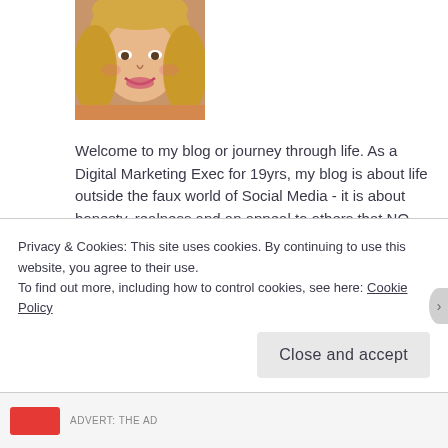[Figure (photo): Portrait photo of a blonde woman smiling, cropped head and shoulders shot]
Welcome to my blog or journey through life. As a Digital Marketing Exec for 19yrs, my blog is about life outside the faux world of Social Media - it is about honesty, realness and an appeal to others that NO ONE has a perfect life, YET it can still be a perfectly happy life.

I write as often as possible but sometimes creativity escapes me and pictures or things I find along my journey, will have to do...I write from my heart & don't
Privacy & Cookies: This site uses cookies. By continuing to use this website, you agree to their use.
To find out more, including how to control cookies, see here: Cookie Policy
Close and accept